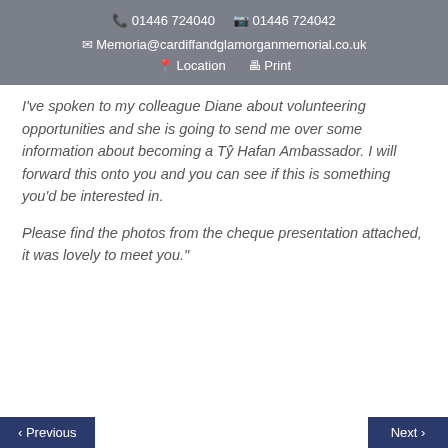📞 01446 724040   📠 01446 724042   ✉ Memoria@cardiffandglamorgnmemorial.co.uk   📍 Location   🖨 Print
I've spoken to my colleague Diane about volunteering opportunities and she is going to send me over some information about becoming a Tŷ Hafan Ambassador. I will forward this onto you and you can see if this is something you'd be interested in.

Please find the photos from the cheque presentation attached, it was lovely to meet you."
‹ Previous   Next ›